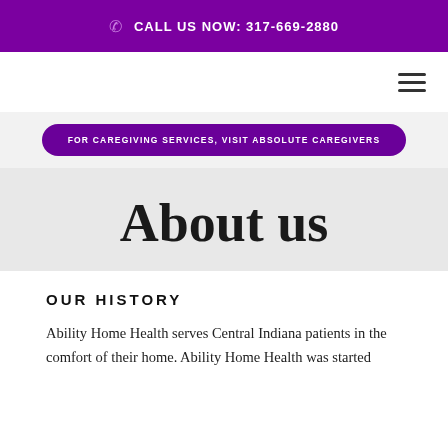CALL US NOW: 317-669-2880
[Figure (other): Hamburger menu icon (three horizontal lines) in the top-right navigation area]
FOR CAREGIVING SERVICES, VISIT ABSOLUTE CAREGIVERS
About us
OUR HISTORY
Ability Home Health serves Central Indiana patients in the comfort of their home. Ability Home Health was started